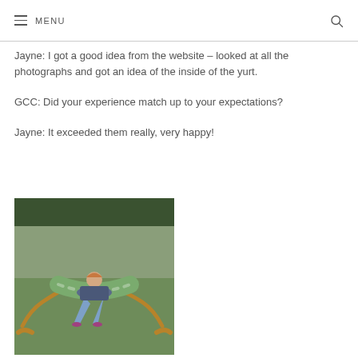MENU
Jayne: I got a good idea from the website – looked at all the photographs and got an idea of the inside of the yurt.
GCC: Did your experience match up to your expectations?
Jayne: It exceeded them really, very happy!
[Figure (photo): A person lying in a striped hammock outdoors on grass, with trees in the background.]